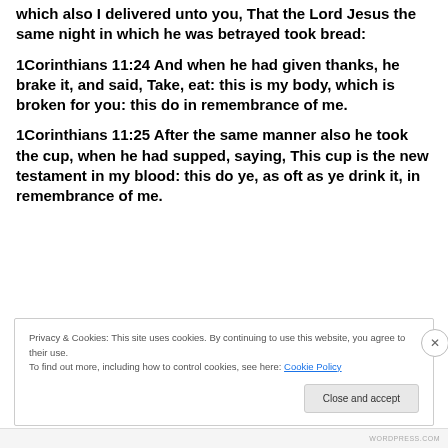which also I delivered unto you, That the Lord Jesus the same night in which he was betrayed took bread:
1Corinthians 11:24 And when he had given thanks, he brake it, and said, Take, eat: this is my body, which is broken for you: this do in remembrance of me.
1Corinthians 11:25 After the same manner also he took the cup, when he had supped, saying, This cup is the new testament in my blood: this do ye, as oft as ye drink it, in remembrance of me.
Privacy & Cookies: This site uses cookies. By continuing to use this website, you agree to their use. To find out more, including how to control cookies, see here: Cookie Policy
Close and accept
WORDPRESS.COM